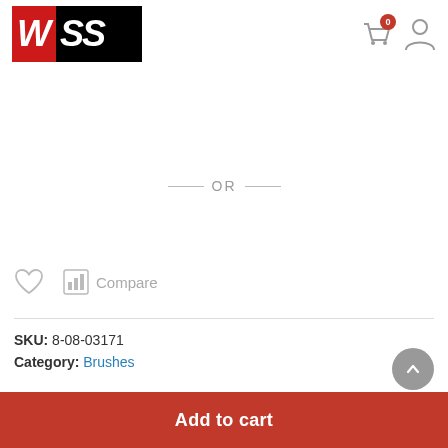[Figure (logo): WSS logo — white W on red background, SS in white on black background]
[Figure (infographic): Shopping bag icon with red badge showing '0', and user profile icon]
— OR —
[Figure (infographic): Heart (wishlist) icon and bar chart (compare) icon with 'Compare' label]
SKU: 8-08-03171
Category: Brushes
[Figure (infographic): Scroll-to-top arrow button (grey circle with upward chevron)]
Add to cart